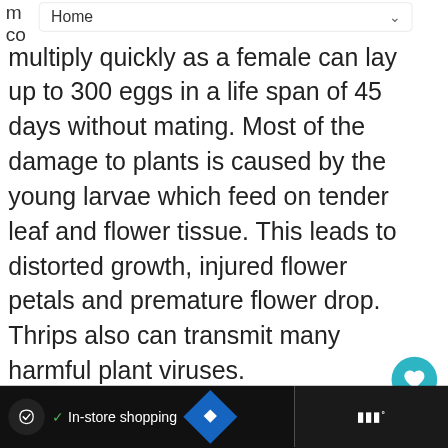Home
multiply quickly as a female can lay up to 300 eggs in a life span of 45 days without mating. Most of the damage to plants is caused by the young larvae which feed on tender leaf and flower tissue. This leads to distorted growth, injured flower petals and premature flower drop. Thrips also can transmit many harmful plant viruses.
[Figure (screenshot): What's Next panel showing thumbnail of Aubrieta The Purpl... article with teal label and arrow icon]
[Figure (screenshot): Ad bar at bottom showing in-store shopping ad with circular icon, checkmark, blue diamond icon, and dark right panel with audio/media icon]